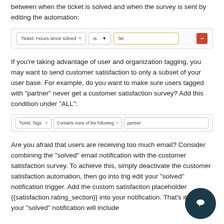between when the ticket is solved and when the survey is sent by editing the automation:
[Figure (screenshot): Automation condition row: 'Ticket: Hours since solved' | 'is' | '36' input field | red minus button]
If you’re taking advantage of user and organization tagging, you may want to send customer satisfaction to only a subset of your user base. For example, do you want to make sure users tagged with “partner” never get a customer satisfaction survey? Add this condition under “ALL”:
[Figure (screenshot): Automation condition row: 'Ticket: Tags' | 'Contains none of the following' | 'partner']
Are you afraid that users are receiving too much email? Consider combining the “solved” email notification with the customer satisfaction survey. To achieve this, simply deactivate the customer satisfaction automation, then go into trig… edit your “solved” notification trigger. Add the custom… satisfaction placeholder {{satisfaction.rating_section}} into your notification. That’s it! Now your “solved” notification will include